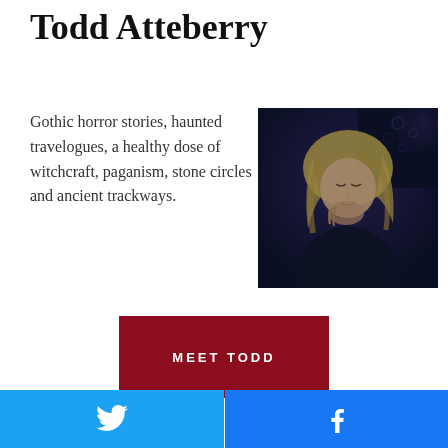Todd Atteberry
Gothic horror stories, haunted travelogues, a healthy dose of witchcraft, paganism, stone circles and ancient trackways.
[Figure (photo): A blonde woman in dark clothing photographed in a dark, moody setting, looking downward]
MEET TODD
[Figure (logo): Twitter bird icon on blue background]
[Figure (logo): Facebook 'f' icon on blue background]